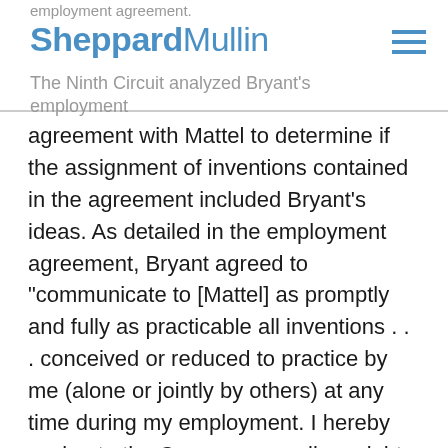employment agreement. SheppardMullin The Ninth Circuit analyzed Bryant's employment
agreement with Mattel to determine if the assignment of inventions contained in the agreement included Bryant's ideas. As detailed in the employment agreement, Bryant agreed to "communicate to [Mattel] as promptly and fully as practicable all inventions . . . conceived or reduced to practice by me (alone or jointly by others) at any time during my employment. I hereby assign to the Company . . . all my right, title and interest in such inventions, and all my right title and interest in any patents, copyrights, patent applications or copyright applications based thereon." The employment agreement went on to specify that "the term 'inventions' includes, but is not limited to, all